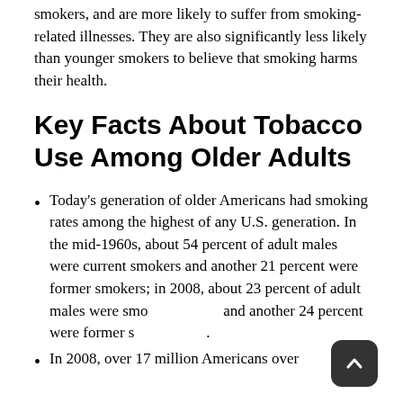smokers, and are more likely to suffer from smoking-related illnesses. They are also significantly less likely than younger smokers to believe that smoking harms their health.
Key Facts About Tobacco Use Among Older Adults
Today's generation of older Americans had smoking rates among the highest of any U.S. generation. In the mid-1960s, about 54 percent of adult males were current smokers and another 21 percent were former smokers; in 2008, about 23 percent of adult males were smokers and another 24 percent were former smokers.
In 2008, over 17 million Americans over